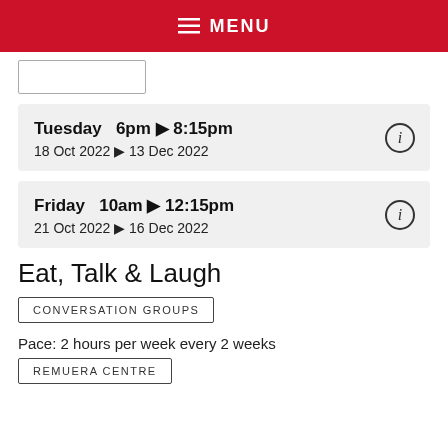≡ MENU
Tuesday  6pm ▶ 8:15pm
18 Oct 2022 ▶ 13 Dec 2022
Friday  10am ▶ 12:15pm
21 Oct 2022 ▶ 16 Dec 2022
Eat, Talk & Laugh
CONVERSATION GROUPS
Pace: 2 hours per week every 2 weeks
REMUERA CENTRE